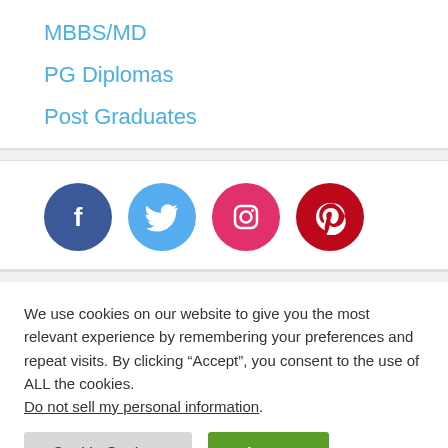MBBS/MD
PG Diplomas
Post Graduates
[Figure (infographic): Social media icons: Facebook (dark blue), Twitter (light blue), Instagram (pink/magenta), Pinterest (red)]
We use cookies on our website to give you the most relevant experience by remembering your preferences and repeat visits. By clicking “Accept”, you consent to the use of ALL the cookies. Do not sell my personal information.
Cookie Settings | Accept